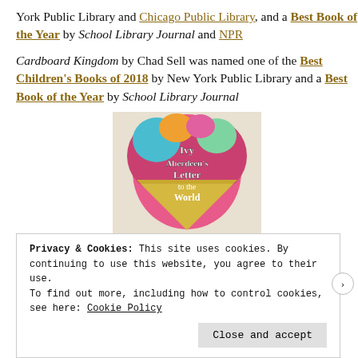York Public Library and Chicago Public Library, and a Best Book of the Year by School Library Journal and NPR
Cardboard Kingdom by Chad Sell was named one of the Best Children's Books of 2018 by New York Public Library and a Best Book of the Year by School Library Journal
[Figure (photo): Book cover of 'Ivy Aberdeen's Letter to the World' by Ashley Herring Blake, showing two girls holding hands beneath a colorful heart-shaped design.]
Privacy & Cookies: This site uses cookies. By continuing to use this website, you agree to their use.
To find out more, including how to control cookies, see here: Cookie Policy
Close and accept